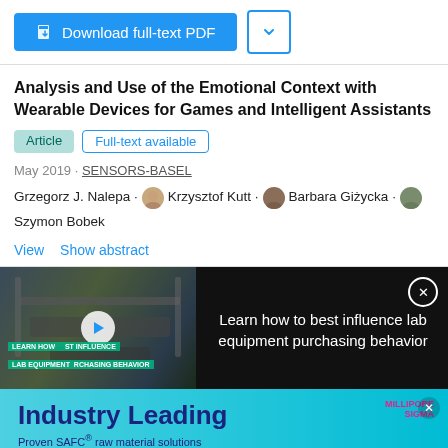[Figure (screenshot): Download full-text PDF button and dropdown arrow button]
Analysis and Use of the Emotional Context with Wearable Devices for Games and Intelligent Assistants
Article · Full-text available
May 2019 · SENSORS-BASEL
Grzegorz J. Nalepa · Krzysztof Kutt · Barbara Giżycka · Szymon Bobek
View  Show abstract
[Figure (screenshot): Video thumbnail showing lab equipment with play button and text overlay: LEARN HOW TO BEST INFLUENCE LAB EQUIPMENT PURCHASING BEHAVIOR. Right panel dark background with text: Learn how to best influence lab equipment purchasing behavior, with close X button.]
[Figure (screenshot): Advertisement banner for Millipore Sigma SAFC. Cyan background. Text: Industry Leading. Proven SAFC raw material solutions and regulatory expertise. Get the facts button. MILLIPORE SIGMA logo. SAFC. pink box.]